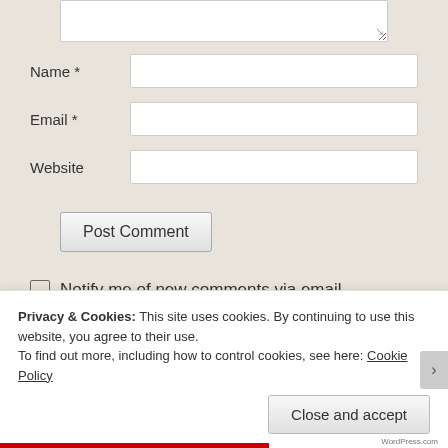[Figure (screenshot): Partial textarea input at the top of a web comment form]
Name *
Email *
Website
Post Comment
Notify me of new comments via email.
Notify me of new posts via email.
Privacy & Cookies: This site uses cookies. By continuing to use this website, you agree to their use.
To find out more, including how to control cookies, see here: Cookie Policy
Close and accept